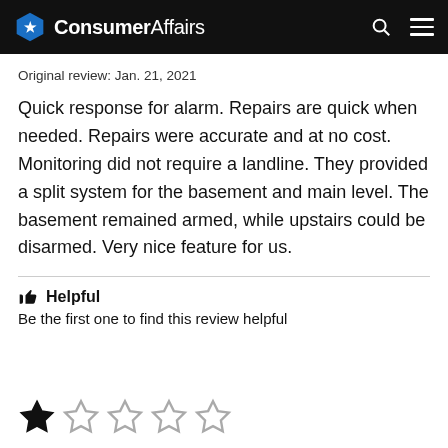ConsumerAffairs
Original review: Jan. 21, 2021
Quick response for alarm. Repairs are quick when needed. Repairs were accurate and at no cost. Monitoring did not require a landline. They provided a split system for the basement and main level. The basement remained armed, while upstairs could be disarmed. Very nice feature for us.
Helpful
Be the first one to find this review helpful